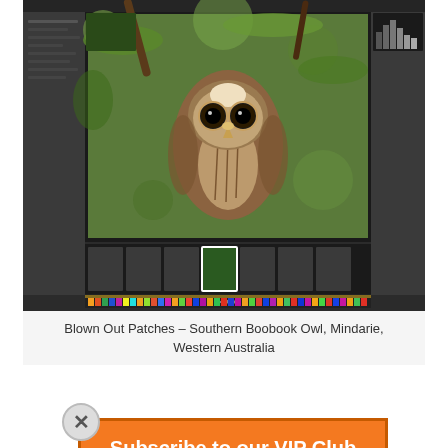[Figure (screenshot): Screenshot of photo editing software (Lightroom) showing a Southern Boobook Owl photo being edited, with filmstrip at bottom]
Blown Out Patches – Southern Boobook Owl, Mindarie, Western Australia
und 40 mins, I me crackers. n Boobook Owl, lthough not so od tip for  always focus on ght depth of field r speed and if the he whole image
Subscribe to our VIP Club for Free
Click here for more information
First Name
Last Name
Email
SUBSCRIBE!
Privacy: We will never pass on your details to any third party